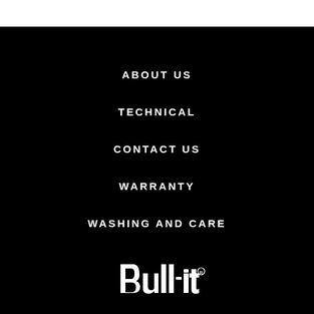ABOUT US
TECHNICAL
CONTACT US
WARRANTY
WASHING AND CARE
[Figure (logo): Bull-it brand logo in white on black background]